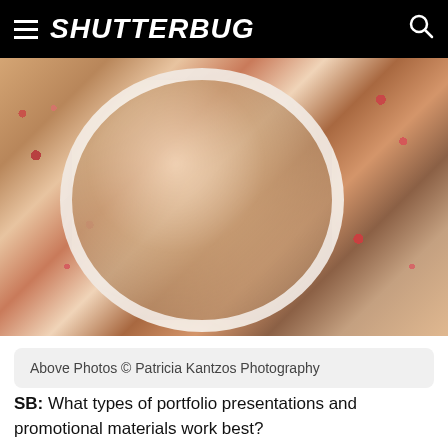SHUTTERBUG
[Figure (photo): Woman reflected in a round mirror with a floral wallpaper background, touching her face. Photo taken at an angle showing the mirror and surrounding floral wall decor.]
Above Photos © Patricia Kantzos Photography
SB: What types of portfolio presentations and promotional materials work best?